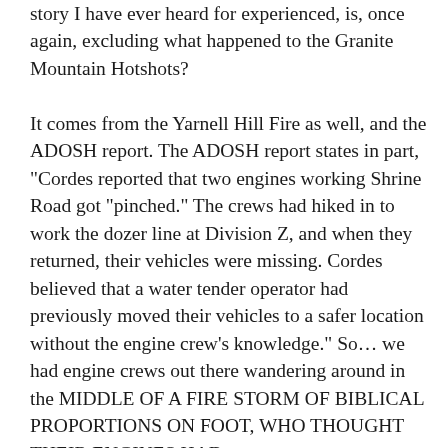story I have ever heard for experienced, is, once again, excluding what happened to the Granite Mountain Hotshots?
It comes from the Yarnell Hill Fire as well, and the ADOSH report. The ADOSH report states in part, "Cordes reported that two engines working Shrine Road got "pinched." The crews had hiked in to work the dozer line at Division Z, and when they returned, their vehicles were missing. Cordes believed that a water tender operator had previously moved their vehicles to a safer location without the engine crew's knowledge." So... we had engine crews out there wandering around in the MIDDLE OF A FIRE STORM OF BIBLICAL PROPORTIONS ON FOOT, WHO THOUGHT THEIR ENGINES HAD